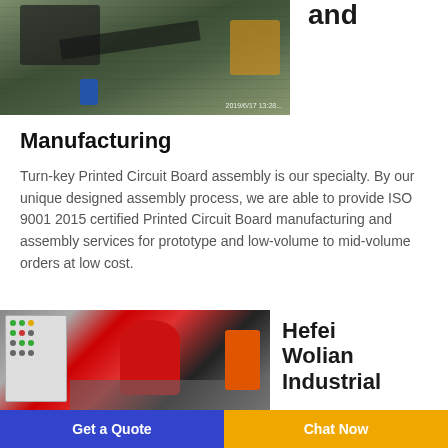[Figure (photo): Outdoor industrial machinery/conveyor equipment at a factory site, with blue barrels and yellow construction equipment in background. Timestamp 2019/6/17 visible.]
and
Manufacturing
Turn-key Printed Circuit Board assembly is our specialty. By our unique designed assembly process, we are able to provide ISO 9001 2015 certified Printed Circuit Board manufacturing and assembly services for prototype and low-volume to mid-volume orders at low cost.
[Figure (photo): Industrial machine with red cylindrical component and control panel with green/red indicator lights, orange box component on right side.]
Hefei Wolian Industrial
Get a Quote
Chat Now